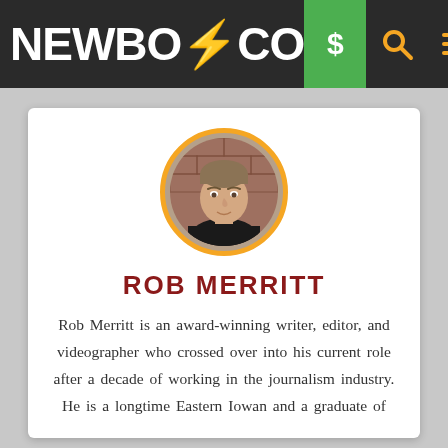NEWBO⚡CO
[Figure (photo): Circular profile photo of Rob Merritt, a young man with light brown hair wearing a dark shirt, with an orange circular border]
ROB MERRITT
Rob Merritt is an award-winning writer, editor, and videographer who crossed over into his current role after a decade of working in the journalism industry. He is a longtime Eastern Iowan and a graduate of